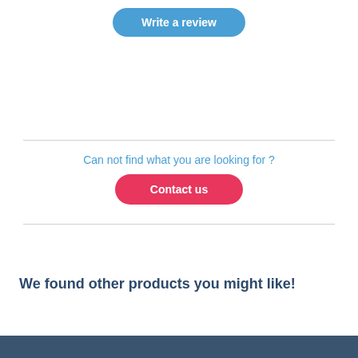[Figure (other): Blue pill-shaped button labeled 'Write a review']
[Figure (other): Horizontal divider line]
Can not find what you are looking for ?
[Figure (other): Pink pill-shaped button labeled 'Contact us']
[Figure (other): Horizontal divider line]
We found other products you might like!